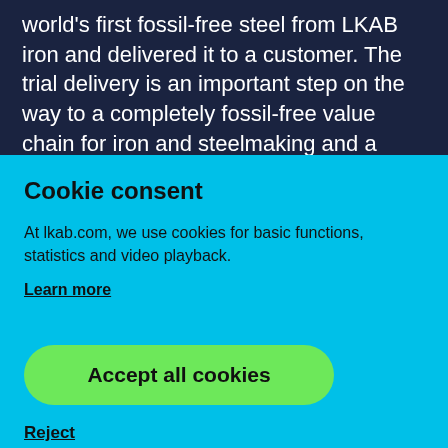world's first fossil-free steel from LKAB iron and delivered it to a customer. The trial delivery is an important step on the way to a completely fossil-free value chain for iron and steelmaking and a milestone in the HYBRIT partnership between SSAB, LKAB and Vattenfall.
Cookie consent
At lkab.com, we use cookies for basic functions, statistics and video playback.
Learn more
Accept all cookies
Reject